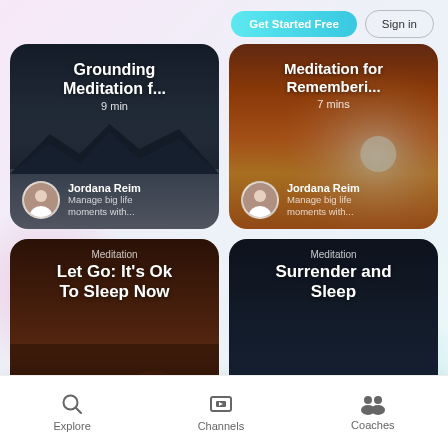[Figure (screenshot): App UI screenshot showing meditation content cards and navigation bar with Get Started Free and Sign in buttons]
Get Started Free
Sign in
Grounding Meditation f...
9 min
Jordana Reim
Manage big life moments with...
Meditation for Rememberi...
7 mins
Jordana Reim
Manage big life moments with...
Meditation
Let Go: It's Ok To Sleep Now
7 mins
Meditation
Surrender and Sleep
7 mins
Explore
Channels
Coaches